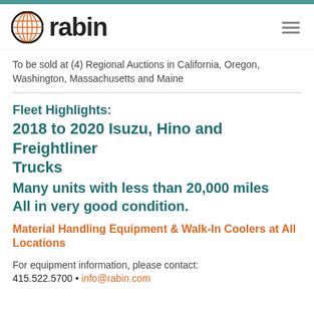rabin
To be sold at (4) Regional Auctions in California, Oregon, Washington, Massachusetts and Maine
Fleet Highlights:
2018 to 2020 Isuzu, Hino and Freightliner Trucks Many units with less than 20,000 miles All in very good condition.
Material Handling Equipment & Walk-In Coolers at All Locations
For equipment information, please contact:
415.522.5700 • info@rabin.com